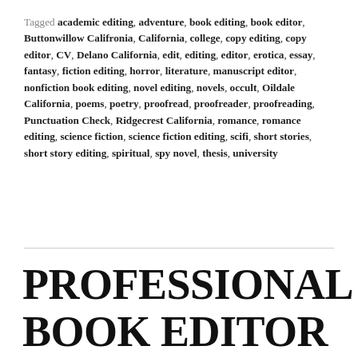Tagged academic editing, adventure, book editing, book editor, Buttonwillow Califronia, California, college, copy editing, copy editor, CV, Delano California, edit, editing, editor, erotica, essay, fantasy, fiction editing, horror, literature, manuscript editor, nonfiction book editing, novel editing, novels, occult, Oildale California, poems, poetry, proofread, proofreader, proofreading, Punctuation Check, Ridgecrest California, romance, romance editing, science fiction, science fiction editing, scifi, short stories, short story editing, spiritual, spy novel, thesis, university
PROFESSIONAL BOOK EDITOR IN